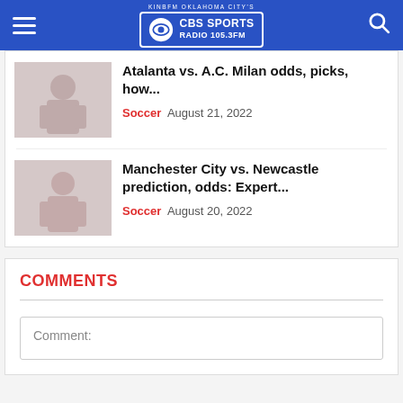KINBFM OKLAHOMA CITY'S CBS SPORTS RADIO 105.3FM
Atalanta vs. A.C. Milan odds, picks, how...
Soccer  August 21, 2022
[Figure (photo): Soccer player photo thumbnail]
Manchester City vs. Newcastle prediction, odds: Expert...
Soccer  August 20, 2022
[Figure (photo): Soccer player photo thumbnail]
COMMENTS
Comment: